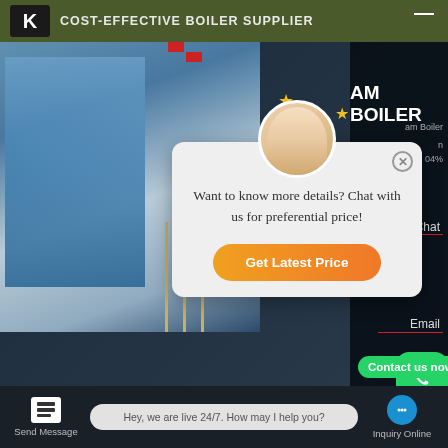COST-EFFECTIVE BOILER SUPPLIER
[Figure (screenshot): Website screenshot showing a boiler supplier page with a chat popup overlay. The popup shows a customer service agent avatar and message 'Want to know more details? Chat with us for preferential price!' with an orange 'Get Latest Price' button. Below shows 'Boiler In Textile Kr...' heading with WhatsApp contact buttons and 'Contact us now!' bubbles.]
Want to know more details? Chat with us for preferential price!
Get Latest Price
Boiler In Textile Kr...
Contact us now!
Contact us now!
Hey, we are live 24/7. How may I help you?
Send Message   Hey, we are live 24/7. How may I help you?   Inquiry Online